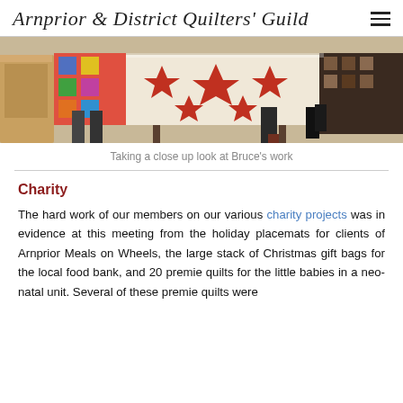Arnprior & District Quilters' Guild
[Figure (photo): People taking a close-up look at a quilt displayed on a table; red and white star pattern quilt visible, colorful quilts in background on a rack, wooden furniture on left]
Taking a close up look at Bruce's work
Charity
The hard work of our members on our various charity projects was in evidence at this meeting from the holiday placemats for clients of Arnprior Meals on Wheels, the large stack of Christmas gift bags for the local food bank, and 20 premie quilts for the little babies in a neo-natal unit. Several of these premie quilts were